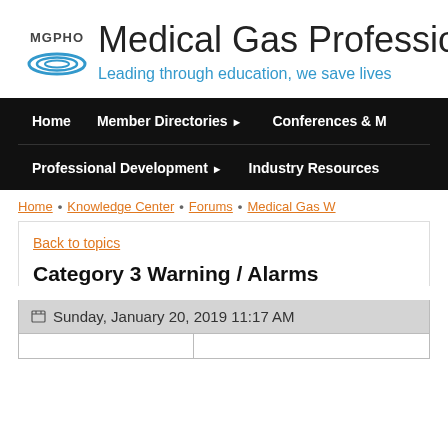[Figure (logo): MGPHO logo with circular blue wave graphic and text MGPHO]
Medical Gas Professional
Leading through education, we save lives
Home   Member Directories ▶   Conferences & M...   Professional Development ▶   Industry Resources
Home • Knowledge Center • Forums • Medical Gas W...
Back to topics
Category 3 Warning / Alarms
Sunday, January 20, 2019 11:17 AM